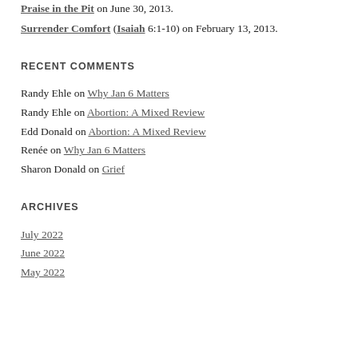Praise in the Pit on June 30, 2013.
Surrender Comfort (Isaiah 6:1-10) on February 13, 2013.
RECENT COMMENTS
Randy Ehle on Why Jan 6 Matters
Randy Ehle on Abortion: A Mixed Review
Edd Donald on Abortion: A Mixed Review
Renée on Why Jan 6 Matters
Sharon Donald on Grief
ARCHIVES
July 2022
June 2022
May 2022